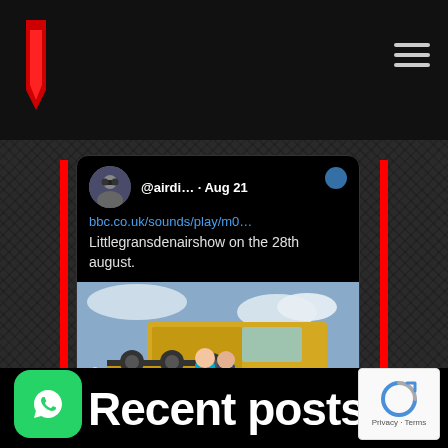[Figure (screenshot): Website screenshot showing a tweet from @airdi... on Aug 21 with a link bbc.co.uk/sounds/play/m0... and text 'Littlegransdenairshow on the 28th august.' with a photo of two people standing in front of a large yellow combine harvester in a field. Below the photo is a link preview showing bbc.co.uk and 'On Your Farm - From Grains to']
Recent posts